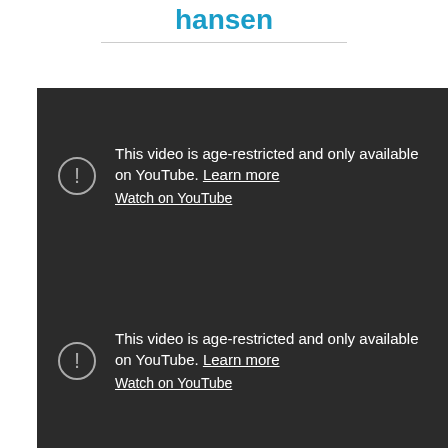hansen
[Figure (screenshot): YouTube age-restricted video embed showing 'This video is age-restricted and only available on YouTube. Learn more' with a 'Watch on YouTube' link, dark background, alert icon. Two such video blocks visible.]